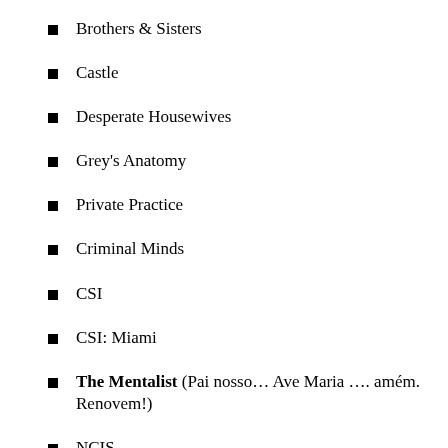Brothers & Sisters
Castle
Desperate Housewives
Grey's Anatomy
Private Practice
Criminal Minds
CSI
CSI: Miami
The Mentalist (Pai nosso… Ave Maria …. amém. Renovem!)
NCIS
American Idol